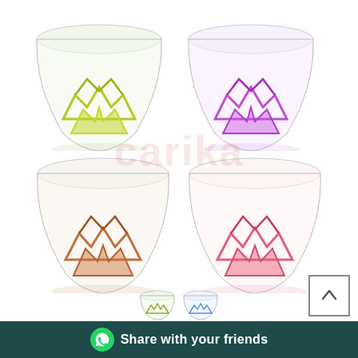[Figure (photo): Four decorative glass bowls arranged in a 2x2 grid. Top-left bowl has yellow-green geometric pattern, top-right has purple/violet pattern, bottom-left has copper/orange pattern, bottom-right has pink/coral pattern. All bowls are clear glass with colorful faceted geometric designs on the lower half. White background with a faint red watermark logo.]
[Figure (photo): Small thumbnail images of two glass bowls at the bottom center of the page.]
Share with your friends